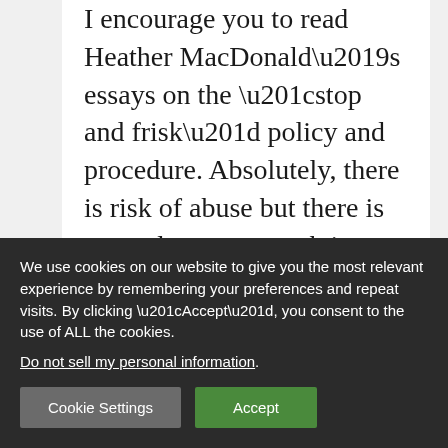I encourage you to read Heather MacDonald's essays on the “stop and frisk” policy and procedure. Absolutely, there is risk of abuse but there is some decent research it can work like a charm.

I have been on the wrong end of encounters with police...
We use cookies on our website to give you the most relevant experience by remembering your preferences and repeat visits. By clicking “Accept”, you consent to the use of ALL the cookies. Do not sell my personal information.